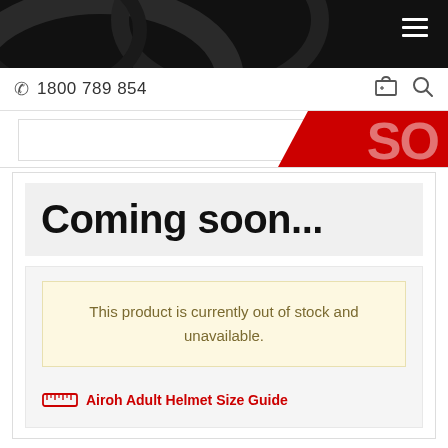[Figure (screenshot): Black top navigation bar with swirling dark design and white hamburger menu icon in top right]
1800 789 854
[Figure (screenshot): White banner strip with a red sale badge on the right showing partial 'SO' text]
Coming soon...
This product is currently out of stock and unavailable.
Airoh Adult Helmet Size Guide